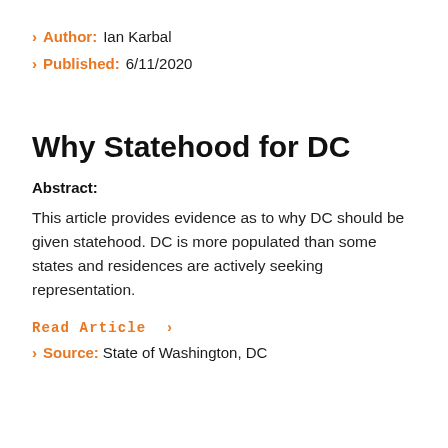Author: Ian Karbal
Published: 6/11/2020
Why Statehood for DC
Abstract:
This article provides evidence as to why DC should be given statehood. DC is more populated than some states and residences are actively seeking representation.
Read Article >
Source: State of Washington, DC